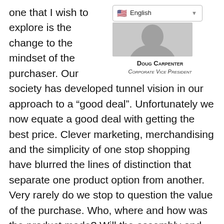[Figure (other): Language selector dropdown showing English with flag icon, and a profile photo placeholder for Doug Carpenter, Corporate Vice President]
one that I wish to explore is the change to the mindset of the purchaser. Our society has developed tunnel vision in our approach to a “good deal”. Unfortunately we now equate a good deal with getting the best price. Clever marketing, merchandising and the simplicity of one stop shopping have blurred the lines of distinction that separate one product option from another. Very rarely do we stop to question the value of the purchase. Who, where and how was the product made? Will the assembly and components of this item yield a long product life? Is this cheaper food item safe to consume? What are my other options? Can I make a better investment somewhere else? We have